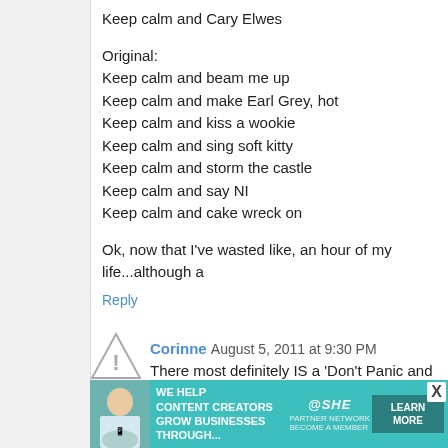Keep calm and Cary Elwes
Original:
Keep calm and beam me up
Keep calm and make Earl Grey, hot
Keep calm and kiss a wookie
Keep calm and sing soft kitty
Keep calm and storm the castle
Keep calm and say NI
Keep calm and cake wreck on
Ok, now that I've wasted like, an hour of my life...although a
Reply
Corinne  August 5, 2011 at 9:30 PM
There most definitely IS a 'Don't Panic and Carry a Towel' s
It's at ThinkGeek :D http://www.thinkgeek.com/tshirts-appar
Reply
TheresaXXX  August 5, 2011 at 9:58 PM
[Figure (infographic): SHE Media partner network advertisement banner with photo of woman, text 'We Help Content Creators Grow Businesses Through...', SHE logo, LEARN MORE button, and X close button]